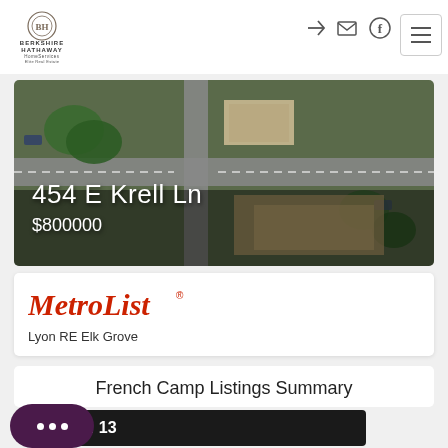[Figure (logo): Berkshire Hathaway HomeServices Elite Real Estate logo]
[Figure (photo): Aerial view of 454 E Krell Ln property showing the intersection and surroundings from above]
454 E Krell Ln
$800000
[Figure (logo): MetroList® logo in red italic]
Lyon RE Elk Grove
French Camp Listings Summary
Total: 13